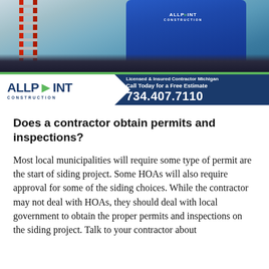[Figure (photo): Advertisement banner for Allpoint Construction showing a worker in a blue Allpoint shirt, a red ladder on the left, with the Allpoint Construction logo, and contact info: Licensed & Insured Contractor Michigan, Call Today for a Free Estimate, 734.407.7110]
Does a contractor obtain permits and inspections?
Most local municipalities will require some type of permit are the start of siding project. Some HOAs will also require approval for some of the siding choices. While the contractor may not deal with HOAs, they should deal with local government to obtain the proper permits and inspections on the siding project. Talk to your contractor about the importance of obtaining permits.